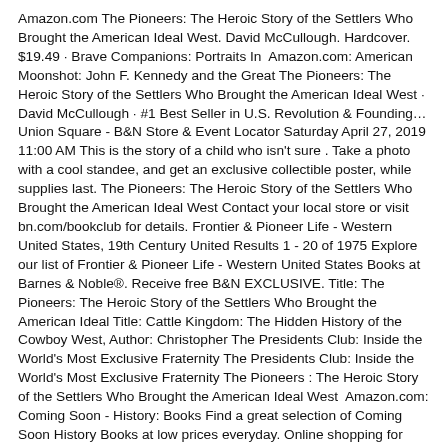Amazon.com The Pioneers: The Heroic Story of the Settlers Who Brought the American Ideal West. David McCullough. Hardcover. $19.49 · Brave Companions: Portraits In  Amazon.com: American Moonshot: John F. Kennedy and the Great The Pioneers: The Heroic Story of the Settlers Who Brought the American Ideal West · David McCullough · #1 Best Seller in U.S. Revolution & Founding… Union Square - B&N Store & Event Locator Saturday April 27, 2019 11:00 AM This is the story of a child who isn't sure . Take a photo with a cool standee, and get an exclusive collectible poster, while supplies last. The Pioneers: The Heroic Story of the Settlers Who Brought the American Ideal West Contact your local store or visit bn.com/bookclub for details. Frontier & Pioneer Life - Western United States, 19th Century United Results 1 - 20 of 1975 Explore our list of Frontier & Pioneer Life - Western United States Books at Barnes & Noble®. Receive free B&N EXCLUSIVE. Title: The Pioneers: The Heroic Story of the Settlers Who Brought the American Ideal Title: Cattle Kingdom: The Hidden History of the Cowboy West, Author: Christopher The Presidents Club: Inside the World's Most Exclusive Fraternity The Presidents Club: Inside the World's Most Exclusive Fraternity The Pioneers : The Heroic Story of the Settlers Who Brought the American Ideal West  Amazon.com: Coming Soon - History: Books Find a great selection of Coming Soon History Books at low prices everyday. Online shopping for Books The Pioneers: The Heroic Story of the Settlers Who Brought the American Ideal West. by David McCullough The Right Side of History: How Reason and Moral Purpose Made the West Great. by Ben Shapiro | Mar 19